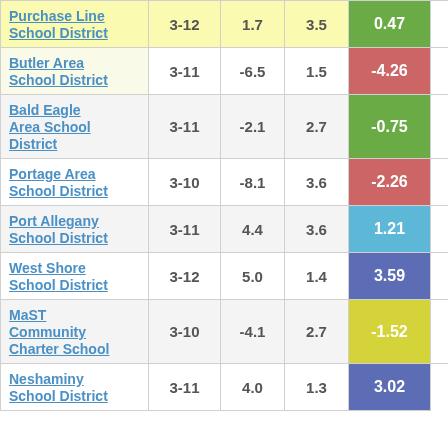| School District | Grades | Col1 | Col2 | Score | Extra |
| --- | --- | --- | --- | --- | --- |
| Purchase Line School District | 3-12 | 1.7 | 3.5 | 0.47 | 4 |
| Butler Area School District | 3-11 | -6.5 | 1.5 | -4.26 |  |
| Bald Eagle Area School District | 3-11 | -2.1 | 2.7 | -0.75 |  |
| Portage Area School District | 3-10 | -8.1 | 3.6 | -2.26 |  |
| Port Allegany School District | 3-11 | 4.4 | 3.6 | 1.21 |  |
| West Shore School District | 3-12 | 5.0 | 1.4 | 3.59 |  |
| MaST Community Charter School | 3-10 | -4.1 | 2.7 | -1.52 |  |
| Neshaminy School District | 3-11 | 4.0 | 1.3 | 3.02 |  |